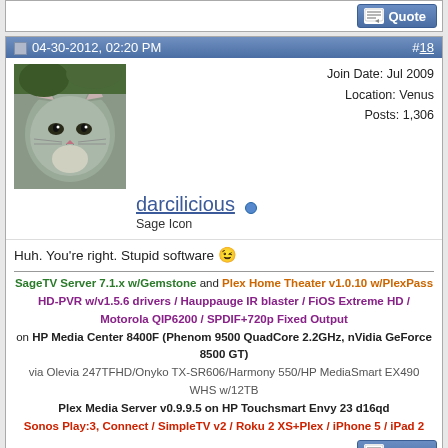[Figure (screenshot): Forum thread page showing two posts. Top partial post shows only a Quote button. Post #18 by darcilicious dated 04-30-2012 02:20 PM with cat avatar, user info, post body, and signature. Post #19 by Opus4 dated 05-01-2012 06:30 AM with cat avatar partial visible at bottom.]
04-30-2012, 02:20 PM
#18
Join Date: Jul 2009
Location: Venus
Posts: 1,306
darcilicious
Sage Icon
Huh. You're right. Stupid software
SageTV Server 7.1.x w/Gemstone and Plex Home Theater v1.0.10 w/PlexPass
HD-PVR w/v1.5.6 drivers / Hauppauge IR blaster / FiOS Extreme HD / Motorola QIP6200 / SPDIF+720p Fixed Output
on HP Media Center 8400F (Phenom 9500 QuadCore 2.2GHz, nVidia GeForce 8500 GT)
via Olevia 247TFHD/Onyko TX-SR606/Harmony 550/HP MediaSmart EX490 WHS w/12TB
Plex Media Server v0.9.9.5 on HP Touchsmart Envy 23 d16qd
Sonos Play:3, Connect / SimpleTV v2 / Roku 2 XS+Plex / iPhone 5 / iPad 2
05-01-2012, 06:30 AM
#19
Join Date: Sep 2003
Location: NJ
Posts: 19,619
Opus4
Administrator